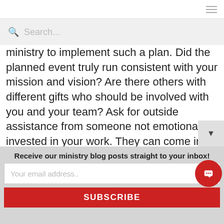Search...
ministry to implement such a plan.  Did the planned event truly run consistent with your mission and vision?  Are there others with different gifts who should be involved with you and your team? Ask for outside assistance from someone not emotionally invested in your work.  They can come in and give an objective opinion on both what went right, as well as what went wrong.  Try not to take their constructive criticism personally.  Maintain an open mind and be willing to adjust your thinking and your planning
Receive our ministry blog posts straight to your inbox!
Your email address..
SUBSCRIBE